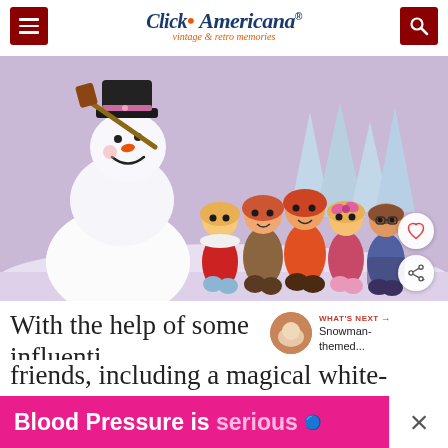Click Americana — vintage & retro memories
[Figure (illustration): Frosty the Snowman cartoon illustration with a group of children walking behind him in a winter scene. Frosty wears a black top hat and holds a broom, children are dressed in colorful winter clothes.]
WHAT'S NEXT → Snowman-themed...
With the help of some influenti... friends, including a magical white- w...itaple.
Blood Pressure is serious